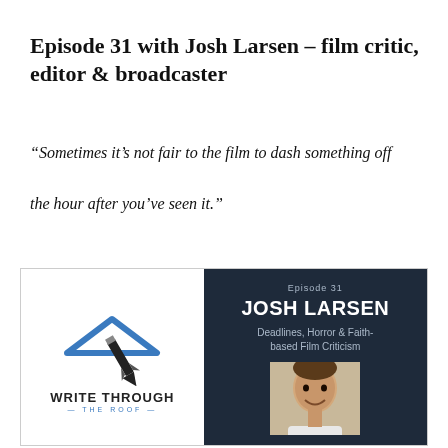Episode 31 with Josh Larsen – film critic, editor & broadcaster
“Sometimes it’s not fair to the film to dash something off the hour after you’ve seen it.”
[Figure (other): Podcast episode card with Write Through The Roof logo on left white panel and Josh Larsen Episode 31 text with photo on right dark panel. Right panel reads: Episode 31, JOSH LARSEN, Deadlines, Horror & Faith-based Film Criticism, with a photo of a smiling man.]